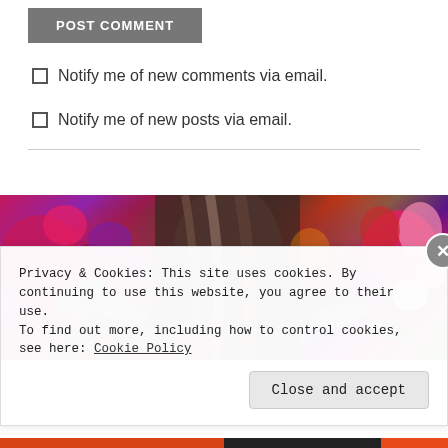POST COMMENT
Notify me of new comments via email.
Notify me of new posts via email.
[Figure (photo): Photo of a person with long brown hair surrounded by colorful flowers including pink peonies, purple flowers, and a large pink lily on the right side.]
Privacy & Cookies: This site uses cookies. By continuing to use this website, you agree to their use. To find out more, including how to control cookies, see here: Cookie Policy
Close and accept